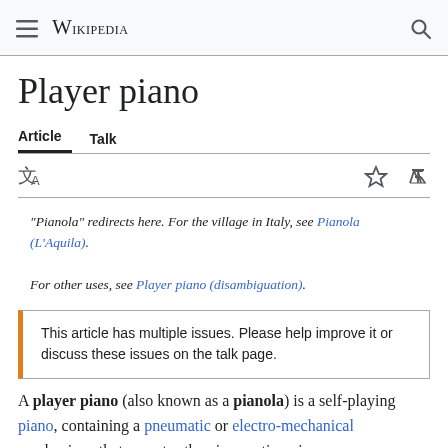Wikipedia
Player piano
Article  Talk
"Pianola" redirects here. For the village in Italy, see Pianola (L'Aquila). For other uses, see Player piano (disambiguation).
This article has multiple issues. Please help improve it or discuss these issues on the talk page.
A player piano (also known as a pianola) is a self-playing piano, containing a pneumatic or electro-mechanical mechanism, that operates the piano action via